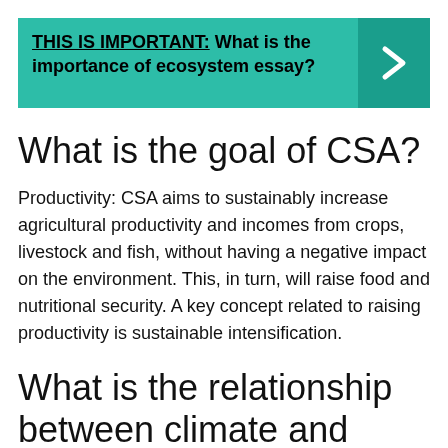THIS IS IMPORTANT: What is the importance of ecosystem essay?
What is the goal of CSA?
Productivity: CSA aims to sustainably increase agricultural productivity and incomes from crops, livestock and fish, without having a negative impact on the environment. This, in turn, will raise food and nutritional security. A key concept related to raising productivity is sustainable intensification.
What is the relationship between climate and